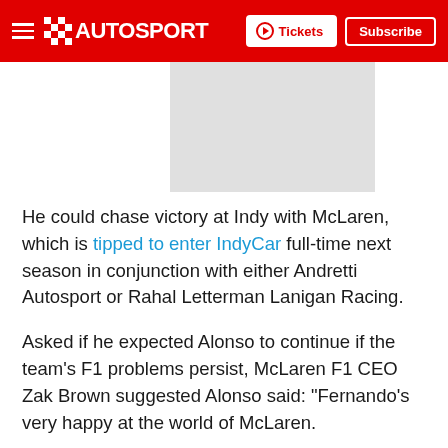AUTOSPORT — Tickets | Subscribe
[Figure (photo): Gray placeholder image/advertisement box]
He could chase victory at Indy with McLaren, which is tipped to enter IndyCar full-time next season in conjunction with either Andretti Autosport or Rahal Letterman Lanigan Racing.
Asked if he expected Alonso to continue if the team's F1 problems persist, McLaren F1 CEO Zak Brown suggested Alonso said: "Fernando's very happy at the world of McLaren.
"He's yet to make a decision. We have a very good relationship with him, he's been with us now for quite a long time and it depends ultimately on what and